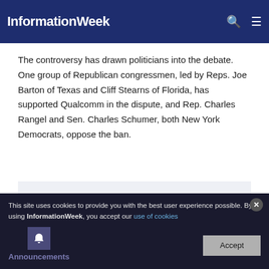InformationWeek
The controversy has drawn politicians into the debate. One group of Republican congressmen, led by Reps. Joe Barton of Texas and Cliff Stearns of Florida, has supported Qualcomm in the dispute, and Rep. Charles Rangel and Sen. Charles Schumer, both New York Democrats, oppose the ban.
Catch up on the week's most important stories, case studies, and features affecting your IT career. Delivered each Friday.
Subscribe
This site uses cookies to provide you with the best user experience possible. By using InformationWeek, you accept our use of cookies
Announcements